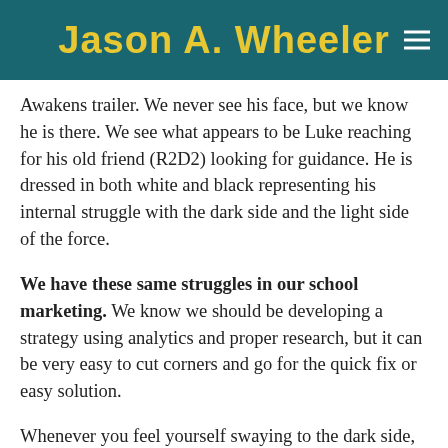Jason A. Wheeler
Awakens trailer. We never see his face, but we know he is there. We see what appears to be Luke reaching for his old friend (R2D2) looking for guidance. He is dressed in both white and black representing his internal struggle with the dark side and the light side of the force.
We have these same struggles in our school marketing. We know we should be developing a strategy using analytics and proper research, but it can be very easy to cut corners and go for the quick fix or easy solution.
Whenever you feel yourself swaying to the dark side, reach out to a friend or colleague that will